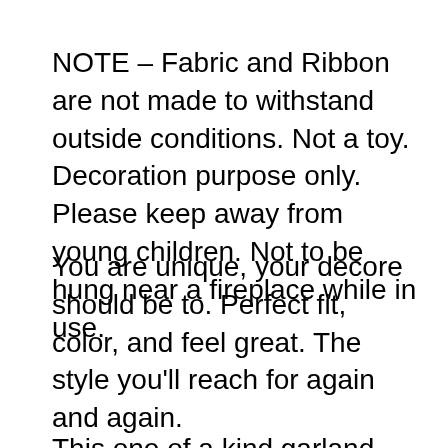NOTE – Fabric and Ribbon are not made to withstand outside conditions. Not a toy. Decoration purpose only. Please keep away from young children. Not to be hung near a fireplace while in use.
You are unique, your decore should be to. Perfect fit, color, and feel great. The style you'll reach for again and again.
This one of a kind garland was designed and handmade by Yvette Staufert the art instructor at Motley Muse.
M[...] cotton
Condition: New and Pre-Shrunk